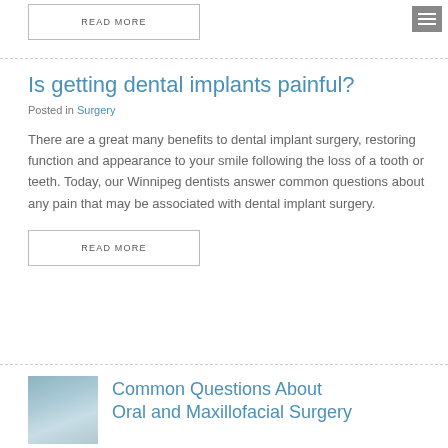READ MORE
Is getting dental implants painful?
Posted in Surgery
There are a great many benefits to dental implant surgery, restoring function and appearance to your smile following the loss of a tooth or teeth. Today, our Winnipeg dentists answer common questions about any pain that may be associated with dental implant surgery.
READ MORE
[Figure (photo): Woman with curly hair holding her jaw/cheek, appearing to be in dental pain, with a blurred background]
Common Questions About Oral and Maxillofacial Surgery